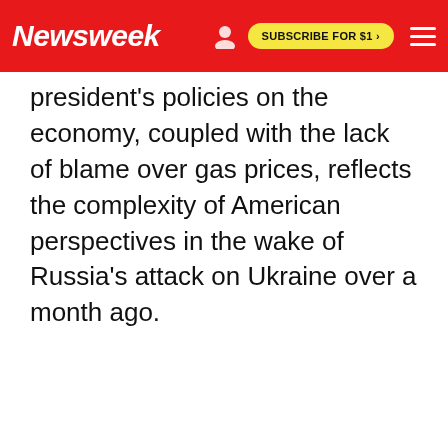Newsweek | SUBSCRIBE FOR $1 >
president's policies on the economy, coupled with the lack of blame over gas prices, reflects the complexity of American perspectives in the wake of Russia's attack on Ukraine over a month ago.